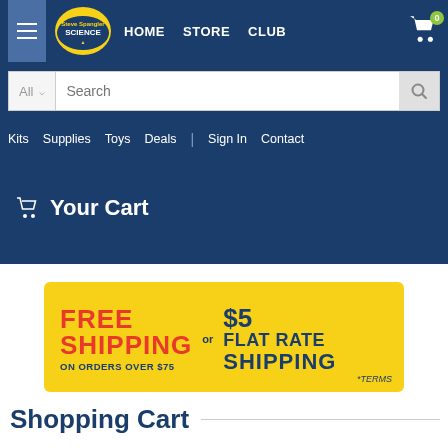[Figure (screenshot): Website header with hamburger menu, Steve Spangler Science logo, and navigation links HOME, STORE, CLUB with cart icon showing 0 items]
[Figure (screenshot): Search bar with All category dropdown and search input field]
Kits   Supplies   Toys   Deals  |  Sign In   Contact
Your Cart
[Figure (infographic): Yellow promotional banner: FREE SHIPPING ON ORDERS OVER $75 or $5 FLAT RATE SHIPPING *TERMS]
Shopping Cart